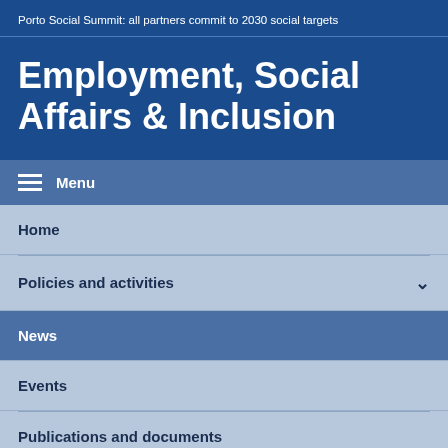Porto Social Summit: all partners commit to 2030 social targets
Employment, Social Affairs & Inclusion
Menu
Home
Policies and activities
News
Events
Publications and documents